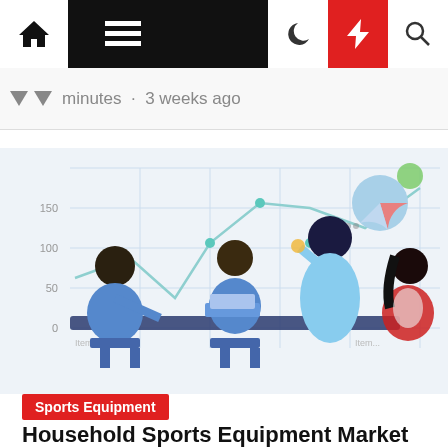Navigation bar with home, menu, moon, bolt, search icons
minutes · 3 weeks ago
[Figure (illustration): Business meeting illustration with people around a table, overlaid on a line chart background with y-axis showing 0, 50, 100, 150 and x-axis showing items, plus a pie chart in the upper right corner]
Sports Equipment
Household Sports Equipment Market Size